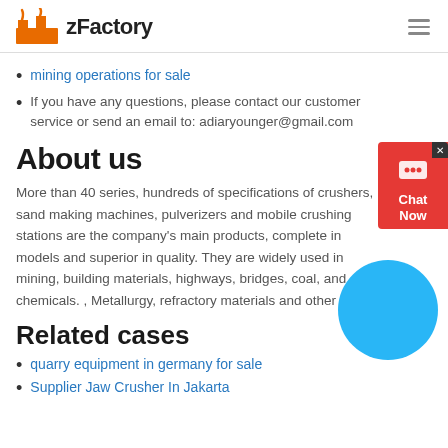zFactory
mining operations for sale
If you have any questions, please contact our customer service or send an email to: adiaryounger@gmail.com
About us
More than 40 series, hundreds of specifications of crushers, sand making machines, pulverizers and mobile crushing stations are the company's main products, complete in models and superior in quality. They are widely used in mining, building materials, highways, bridges, coal, and chemicals. , Metallurgy, refractory materials and other fields.
Related cases
quarry equipment in germany for sale
Supplier Jaw Crusher In Jakarta